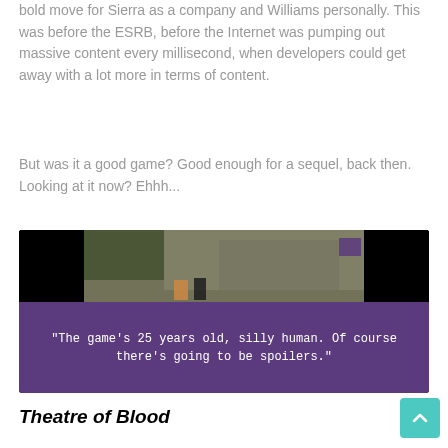bold move for Sierra as a company and Williams personally. This was before the ESRB, before the Internet was pumping out massive content every millisecond, when developers could get away with a lot more in terms of content.
But was it a good game? Good enough for a sequel, back then. Looking at it now? Ehhh...
[Figure (screenshot): A screenshot from an old video game showing a dark stone wall scene with characters, overlaid on a purple background with the quote: "The game's 25 years old, silly human. Of course there's going to be spoilers."]
Theatre of Blood